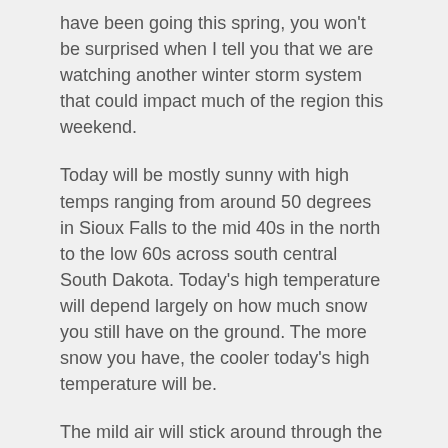have been going this spring, you won't be surprised when I tell you that we are watching another winter storm system that could impact much of the region this weekend.
Today will be mostly sunny with high temps ranging from around 50 degrees in Sioux Falls to the mid 40s in the north to the low 60s across south central South Dakota. Today's high temperature will depend largely on how much snow you still have on the ground. The more snow you have, the cooler today's high temperature will be.
The mild air will stick around through the rest of the week. Tomorrow and Thursday will be mostly cloudy, but high temps will still warm into the mid to upper 50s.
A powerful storm system will blast into the region on Friday and stick around into the weekend. Friday will still be mild, but there will be rain and scattered thunderstorms possible throughout the day. As colder air works its way into the system late Friday